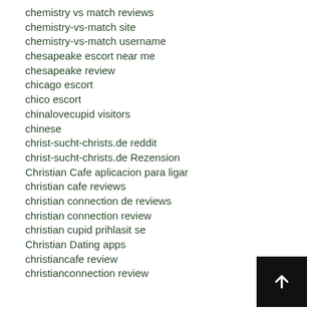chemistry vs match reviews
chemistry-vs-match site
chemistry-vs-match username
chesapeake escort near me
chesapeake review
chicago escort
chico escort
chinalovecupid visitors
chinese
christ-sucht-christs.de reddit
christ-sucht-christs.de Rezension
Christian Cafe aplicacion para ligar
christian cafe reviews
christian connection de reviews
christian connection review
christian cupid prihlasit se
Christian Dating apps
christiancafe review
christianconnection review
[Figure (other): Black square button with white upward arrow icon (scroll to top button)]